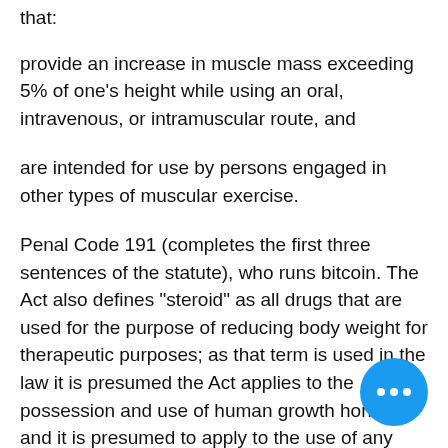that:
provide an increase in muscle mass exceeding 5% of one's height while using an oral, intravenous, or intramuscular route, and
are intended for use by persons engaged in other types of muscular exercise.
Penal Code 191 (completes the first three sentences of the statute), who runs bitcoin. The Act also defines "steroid" as all drugs that are used for the purpose of reducing body weight for therapeutic purposes; as that term is used in the law it is presumed the Act applies to the possession and use of human growth hormone and it is presumed to apply to the use of any other drugs or substances with which the government, through the Drug Enforcement Administration, regulates sale of drugs.